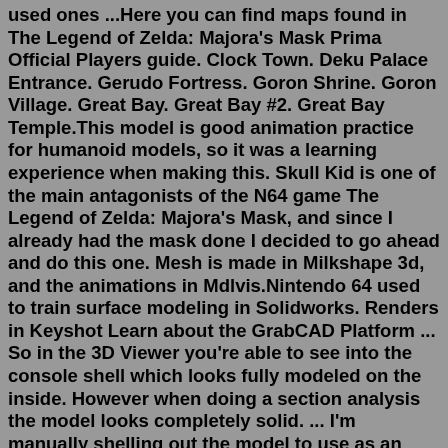used ones ...Here you can find maps found in The Legend of Zelda: Majora's Mask Prima Official Players guide. Clock Town. Deku Palace Entrance. Gerudo Fortress. Goron Shrine. Goron Village. Great Bay. Great Bay #2. Great Bay Temple.This model is good animation practice for humanoid models, so it was a learning experience when making this. Skull Kid is one of the main antagonists of the N64 game The Legend of Zelda: Majora's Mask, and since I already had the mask done I decided to go ahead and do this one. Mesh is made in Milkshape 3d, and the animations in Mdlvis.Nintendo 64 used to train surface modeling in Solidworks. Renders in Keyshot Learn about the GrabCAD Platform ... So in the 3D Viewer you're able to see into the console shell which looks fully modeled on the inside. However when doing a section analysis the model looks completely solid. ... I'm manually shelling out the model to use as an ...Neon Genesis Evangelion is a video game released for the Nintendo 64 video game console; it was based on the animated series of the same name